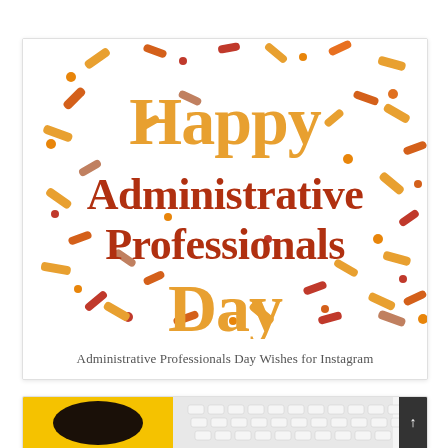[Figure (illustration): Colorful confetti-style graphic with text 'Happy Administrative Professionals Day' in orange and dark red serif bold font on white background with scattered colorful confetti pieces.]
Administrative Professionals Day Wishes for Instagram
[Figure (photo): Partial photo showing a yellow coffee mug with black coffee and a white keyboard with mouse, top-down view.]